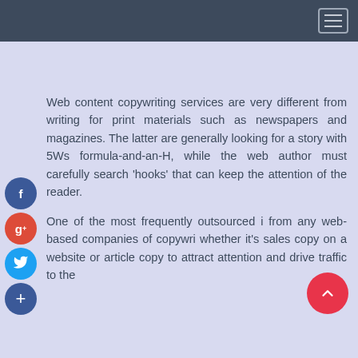[Navigation bar with hamburger menu]
Web content copywriting services are very different from writing for print materials such as newspapers and magazines. The latter are generally looking for a story with 5Ws formula-and-an-H, while the web author must carefully search 'hooks' that can keep the attention of the reader.
One of the most frequently outsourced i... from any web-based companies of copywri... whether it's sales copy on a website or article copy to attract attention and drive traffic to the